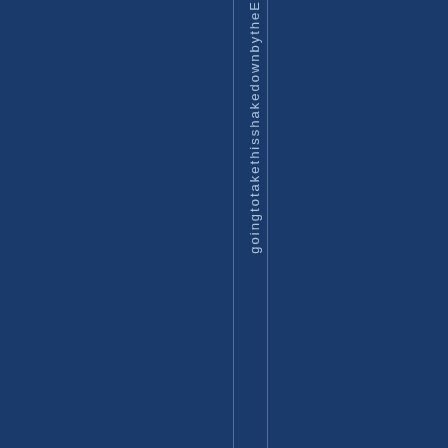[Figure (other): Dark navy blue background page with vertical text reading 'goingtotakethisshakedownbytheE' arranged letter by letter vertically, with thin vertical lines on either side of the text column]